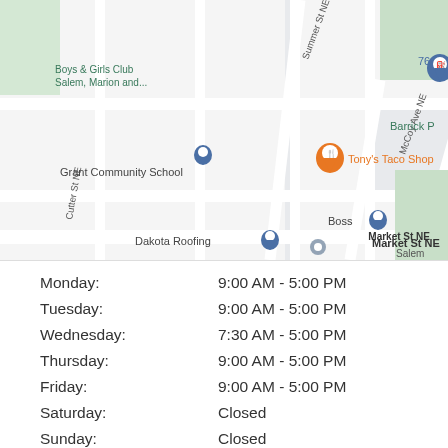[Figure (map): Google Maps street map showing area around Tony's Taco Shop in Salem, OR. Visible landmarks: Boys & Girls Club Salem Marion and..., Tony's Taco Shop (orange pin), 76 gas station (blue pin), Grant Community School, Dakota Roofing (blue pin), Boss (blue pin), Barrick P (partially visible). Streets visible: Summer St NE, McCoy Ave NE, Market St NE, Cutter St NE.]
| Day | Hours |
| --- | --- |
| Monday: | 9:00 AM - 5:00 PM |
| Tuesday: | 9:00 AM - 5:00 PM |
| Wednesday: | 7:30 AM - 5:00 PM |
| Thursday: | 9:00 AM - 5:00 PM |
| Friday: | 9:00 AM - 5:00 PM |
| Saturday: | Closed |
| Sunday: | Closed |